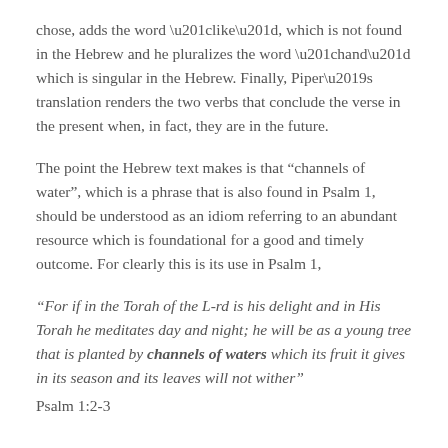chose, adds the word “like”, which is not found in the Hebrew and he pluralizes the word “hand” which is singular in the Hebrew. Finally, Piper’s translation renders the two verbs that conclude the verse in the present when, in fact, they are in the future.
The point the Hebrew text makes is that “channels of water”, which is a phrase that is also found in Psalm 1, should be understood as an idiom referring to an abundant resource which is foundational for a good and timely outcome. For clearly this is its use in Psalm 1,
“For if in the Torah of the L-rd is his delight and in His Torah he meditates day and night; he will be as a young tree that is planted by channels of waters which its fruit it gives in its season and its leaves will not wither” Psalm 1:2-3